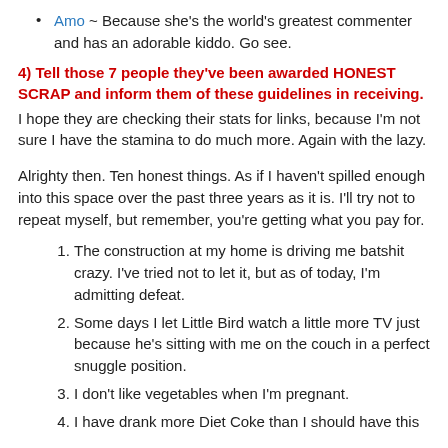Amo ~ Because she's the world's greatest commenter and has an adorable kiddo. Go see.
4) Tell those 7 people they've been awarded HONEST SCRAP and inform them of these guidelines in receiving.
I hope they are checking their stats for links, because I'm not sure I have the stamina to do much more. Again with the lazy.
Alrighty then. Ten honest things. As if I haven't spilled enough into this space over the past three years as it is. I'll try not to repeat myself, but remember, you're getting what you pay for.
1. The construction at my home is driving me batshit crazy. I've tried not to let it, but as of today, I'm admitting defeat.
2. Some days I let Little Bird watch a little more TV just because he's sitting with me on the couch in a perfect snuggle position.
3. I don't like vegetables when I'm pregnant.
4. I have drank more Diet Coke than I should have this